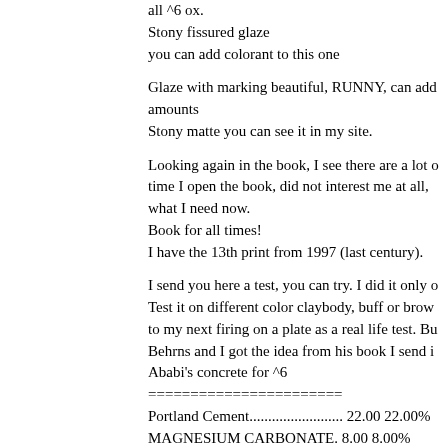all ^6 ox.
Stony fissured glaze
you can add colorant to this one
Glaze with marking beautiful, RUNNY, can add colorant amounts
Stony matte you can see it in my site.
Looking again in the book, I see there are a lot of time I open the book, did not interest me at all, what I need now.
Book for all times!
I have the 13th print from 1997 (last century).
I send you here a test, you can try. I did it only on Test it on different color claybody, buff or brown to my next firing on a plate as a real life test. Behrns and I got the idea from his book I send Ababi's concrete for ^6
=======================
Portland Cement......................... 22.00 22.00%
MAGNESIUM CARBONATE. 8.00 8.00%
BORAX..................................... 15.00 15.00%
ENGLISH KAOLIN.....................20.00 20.00%
QUARTZ.................................... 15.00 15.00%
CRYOLITE................................ 20.00 20.00%